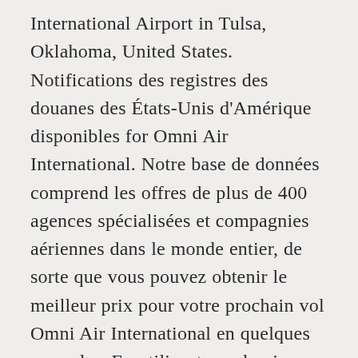International Airport in Tulsa, Oklahoma, United States. Notifications des registres des douanes des États-Unis d'Amérique disponibles for Omni Air International. Notre base de données comprend les offres de plus de 400 agences spécialisées et compagnies aériennes dans le monde entier, de sorte que vous pouvez obtenir le meilleur prix pour votre prochain vol Omni Air International en quelques secondes. En utilisant ces derniers, vous acceptez l'utilisation des cookies. Omni B762 near Las Vegas on Nov 29th 2019, smoke in cockpit. Trouvez un billet d'avion Omni Air International avec Jetcost est simple : il suffit de choisir le nombre de passagers et la classe